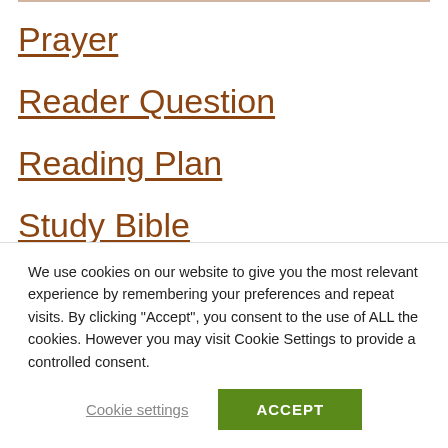Prayer
Reader Question
Reading Plan
Study Bible
Swindoll Study Bible
Text Bibles
We use cookies on our website to give you the most relevant experience by remembering your preferences and repeat visits. By clicking “Accept”, you consent to the use of ALL the cookies. However you may visit Cookie Settings to provide a controlled consent.
Cookie settings | ACCEPT